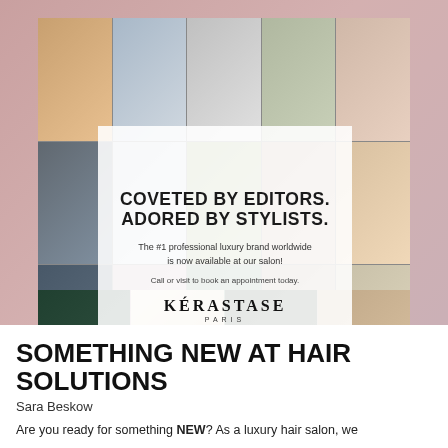[Figure (photo): Kérastase promotional collage image featuring magazine covers, beauty products, and lifestyle photos with a central white overlay box containing the text 'COVETED BY EDITORS. ADORED BY STYLISTS.' and Kérastase Paris branding.]
SOMETHING NEW AT HAIR SOLUTIONS
Sara Beskow
Are you ready for something NEW? As a luxury hair salon, we